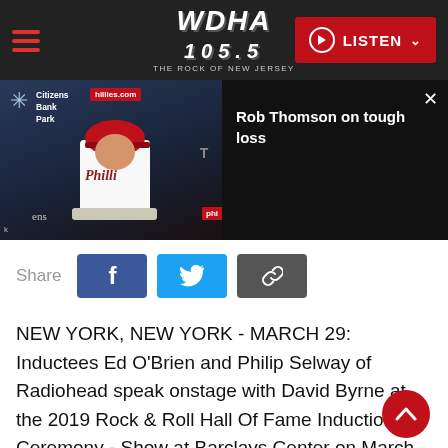WDHA 105.5 THE ROCK OF NEW JERSEY — LISTEN
[Figure (screenshot): Video thumbnail showing a Philadelphia Phillies manager at a press conference at Citizens Bank Park, with a video panel overlay reading 'Rob Thomson on tough loss']
Share
NEW YORK, NEW YORK - MARCH 29: Inductees Ed O'Brien and Philip Selway of Radiohead speak onstage with David Byrne at the 2019 Rock & Roll Hall Of Fame Induction Ceremony - Show at Barclays Center on March 29, 2019 in New York City. (Photo by Jamie McCarthy/Getty Images For The Rock and Roll